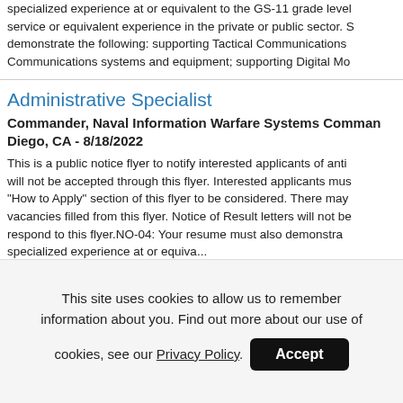specialized experience at or equivalent to the GS-11 grade level service or equivalent experience in the private or public sector. S demonstrate the following: supporting Tactical Communications Communications systems and equipment; supporting Digital Mo
Administrative Specialist
Commander, Naval Information Warfare Systems Command Diego, CA - 8/18/2022
This is a public notice flyer to notify interested applicants of anti will not be accepted through this flyer. Interested applicants mus "How to Apply" section of this flyer to be considered. There may vacancies filled from this flyer. Notice of Result letters will not be respond to this flyer.NO-04: Your resume must also demonstra specialized experience at or equiva...
Scientist/Engineer
Commander, Naval Information Warfare Systems Command Diego, CA - 8/17/2022
This site uses cookies to allow us to remember information about you. Find out more about our use of cookies, see our Privacy Policy.